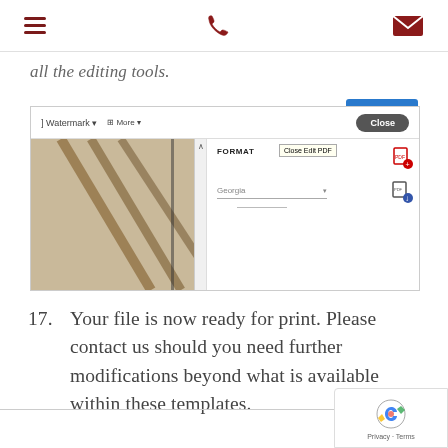[navigation icons: menu, phone, mail]
all the editing tools.
[Figure (screenshot): Screenshot of Adobe Acrobat PDF editor toolbar showing Watermark and More options, a Close button, a photo of diagonal wooden beams, a FORMAT panel with Georgia font dropdown, and a Close Edit PDF tooltip. Red icons for PDF export and download on the right.]
17. Your file is now ready for print. Please contact us should you need further modifications beyond what is available within these templates.